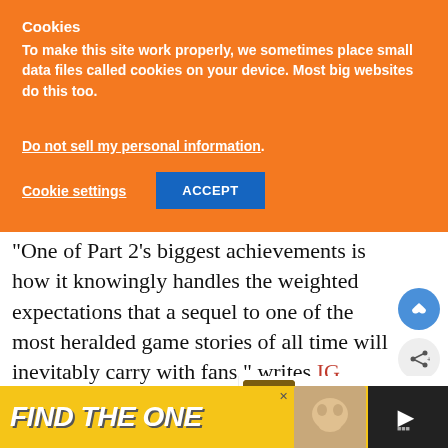Cookies
To make this site work properly, we sometimes place small data files called cookies on your device. Most big websites do this too.
Do not sell my personal information.
Cookie settings  ACCEPT
“One of Part 2’s biggest achievements is how it knowingly handles the weighted expectations that a sequel to one of the most heralded game stories of all time will inevitably carry with fans,” writes IGN’s Jonathon Dornbush. “Naughty Dog’s
[Figure (screenshot): Find The One advertisement banner with yellow background, dog image, and dark panel on right]
WHAT’S NEXT → Where Is Westworld...